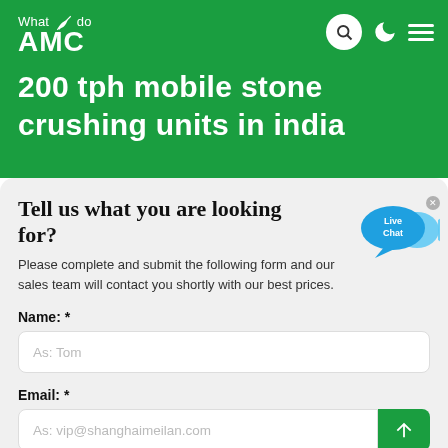What we do
AMC
200 tph mobile stone crushing units in india
Tell us what you are looking for?
Please complete and submit the following form and our sales team will contact you shortly with our best prices.
Name: *
As: Tom
Email: *
As: vip@shanghaimeilan.com
Phone: *
With Country Code